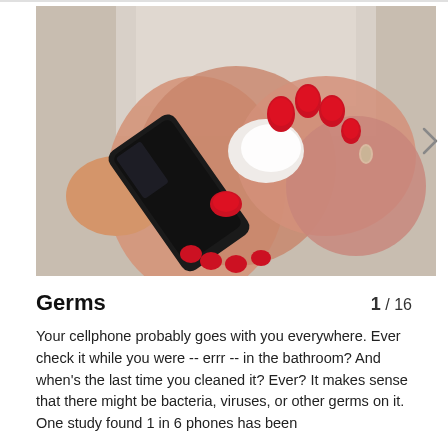[Figure (photo): A woman with red painted nails cleaning a black smartphone with a white cloth/wipe, wearing a white shirt. Close-up shot showing hands holding the phone.]
Germs
1 / 16
Your cellphone probably goes with you everywhere. Ever check it while you were -- errr -- in the bathroom? And when's the last time you cleaned it? Ever? It makes sense that there might be bacteria, viruses, or other germs on it. One study found 1 in 6 phones has been